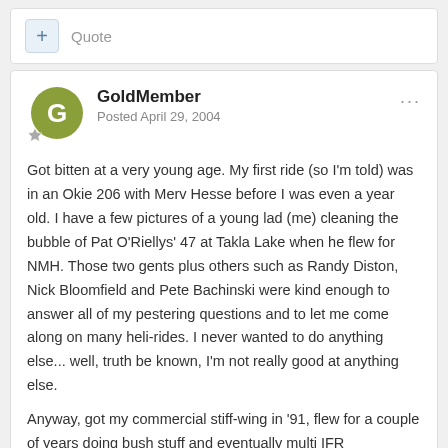+ Quote
GoldMember
Posted April 29, 2004
Got bitten at a very young age. My first ride (so I'm told) was in an Okie 206 with Merv Hesse before I was even a year old. I have a few pictures of a young lad (me) cleaning the bubble of Pat O'Riellys' 47 at Takla Lake when he flew for NMH. Those two gents plus others such as Randy Diston, Nick Bloomfield and Pete Bachinski were kind enough to answer all of my pestering questions and to let me come along on many heli-rides. I never wanted to do anything else... well, truth be known, I'm not really good at anything else.
Anyway, got my commercial stiff-wing in '91, flew for a couple of years doing bush stuff and eventually multi IFR